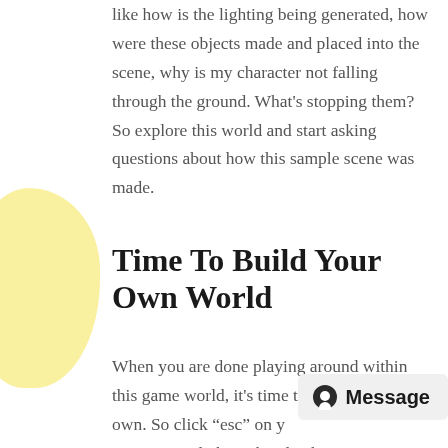like how is the lighting being generated, how were these objects made and placed into the scene, why is my character not falling through the ground. What's stopping them? So explore this world and start asking questions about how this sample scene was made.
Time To Build Your Own World
When you are done playing around within this game world, it's time to go and build our own. So click “esc” on y you can re-click on the play button to exit